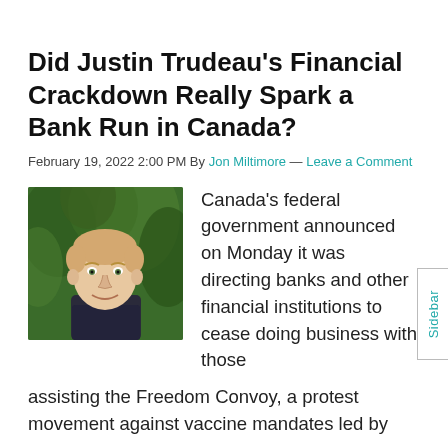Did Justin Trudeau's Financial Crackdown Really Spark a Bank Run in Canada?
February 19, 2022 2:00 PM By Jon Miltimore — Leave a Comment
[Figure (photo): Headshot photo of Jon Miltimore, a young man with short blond hair wearing a dark sweater, with green foliage in the background.]
Canada's federal government announced on Monday it was directing banks and other financial institutions to cease doing business with those assisting the Freedom Convoy, a protest movement against vaccine mandates led by